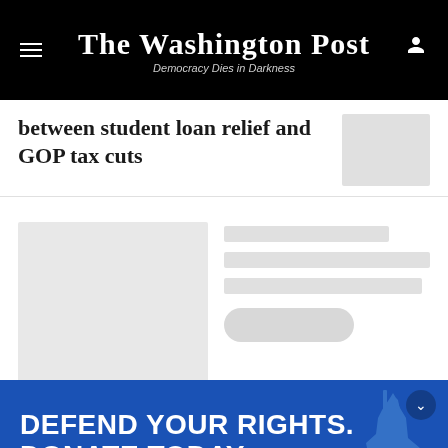The Washington Post — Democracy Dies in Darkness
between student loan relief and GOP tax cuts
[Figure (screenshot): Loading skeleton card with image placeholder and text lines]
[Figure (illustration): ACLU advertisement banner: DEFEND YOUR RIGHTS. DONATE TODAY. MATCH MY GIFT. Blue background with Statue of Liberty silhouette.]